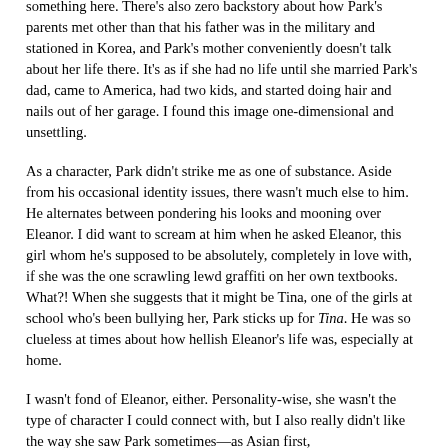something here. There's also zero backstory about how Park's parents met other than that his father was in the military and stationed in Korea, and Park's mother conveniently doesn't talk about her life there. It's as if she had no life until she married Park's dad, came to America, had two kids, and started doing hair and nails out of her garage. I found this image one-dimensional and unsettling.
As a character, Park didn't strike me as one of substance. Aside from his occasional identity issues, there wasn't much else to him. He alternates between pondering his looks and mooning over Eleanor. I did want to scream at him when he asked Eleanor, this girl whom he's supposed to be absolutely, completely in love with, if she was the one scrawling lewd graffiti on her own textbooks. What?! When she suggests that it might be Tina, one of the girls at school who's been bullying her, Park sticks up for Tina. He was so clueless at times about how hellish Eleanor's life was, especially at home.
I wasn't fond of Eleanor, either. Personality-wise, she wasn't the type of character I could connect with, but I also really didn't like the way she saw Park sometimes—as Asian first,